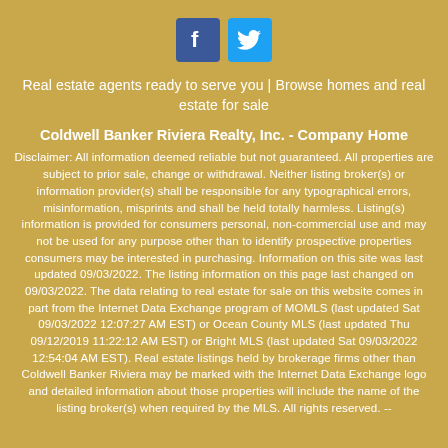[Figure (logo): Facebook and Twitter social media icons side by side]
Real estate agents ready to serve you | Browse homes and real estate for sale
Coldwell Banker Riviera Realty, Inc. - Company Home
Disclaimer: All information deemed reliable but not guaranteed. All properties are subject to prior sale, change or withdrawal. Neither listing broker(s) or information provider(s) shall be responsible for any typographical errors, misinformation, misprints and shall be held totally harmless. Listing(s) information is provided for consumers personal, non-commercial use and may not be used for any purpose other than to identify prospective properties consumers may be interested in purchasing. Information on this site was last updated 09/03/2022. The listing information on this page last changed on 09/03/2022. The data relating to real estate for sale on this website comes in part from the Internet Data Exchange program of MOMLS (last updated Sat 09/03/2022 12:07:27 AM EST) or Ocean County MLS (last updated Thu 09/12/2019 11:22:12 AM EST) or Bright MLS (last updated Sat 09/03/2022 12:54:04 AM EST). Real estate listings held by brokerage firms other than Coldwell Banker Riviera may be marked with the Internet Data Exchange logo and detailed information about those properties will include the name of the listing broker(s) when required by the MLS. All rights reserved. --